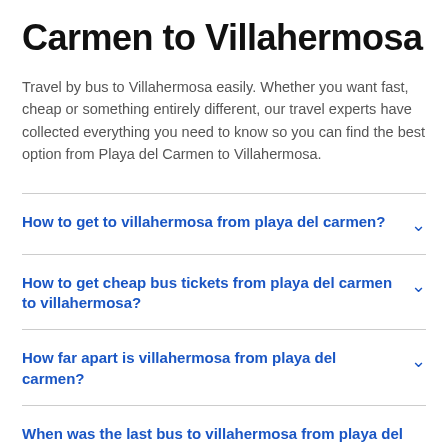Carmen to Villahermosa
Travel by bus to Villahermosa easily. Whether you want fast, cheap or something entirely different, our travel experts have collected everything you need to know so you can find the best option from Playa del Carmen to Villahermosa.
How to get to villahermosa from playa del carmen?
How to get cheap bus tickets from playa del carmen to villahermosa?
How far apart is villahermosa from playa del carmen?
When was the last bus to villahermosa from playa del carmen?